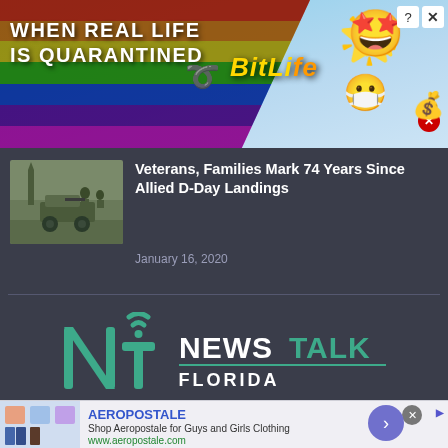[Figure (screenshot): BitLife advertisement banner with rainbow background, white text 'WHEN REAL LIFE IS QUARANTINED' and golden BitLife logo text with emojis]
[Figure (photo): Thumbnail image of military vehicles and soldiers, appears to be a historical WWII D-Day related photo]
Veterans, Families Mark 74 Years Since Allied D-Day Landings
January 16, 2020
[Figure (logo): NewsTalk Florida logo — green NT icon with wifi symbol and text NEWSTALK FLORIDA]
[Figure (screenshot): Aeropostale advertisement banner with thumbnail of clothing, text 'AEROPOSTALE', 'Shop Aeropostale for Guys and Girls Clothing', 'www.aeropostale.com' and a purple/blue arrow button]